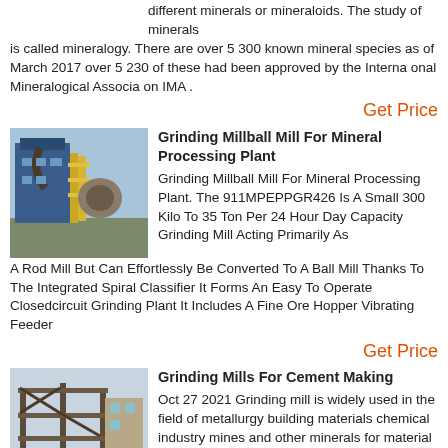different minerals or mineraloids. The study of minerals is called mineralogy. There are over 5 300 known mineral species as of March 2017 over 5 230 of these had been approved by the Interna onal Mineralogical Associa on IMA .
Get Price
[Figure (photo): Industrial grinding mill / ball mill facility with blue structure and yellow scaffolding]
Grinding Millball Mill For Mineral Processing Plant
Grinding Millball Mill For Mineral Processing Plant. The 911MPEPPGR426 Is A Small 300 Kilo To 35 Ton Per 24 Hour Day Capacity Grinding Mill Acting Primarily As A Rod Mill But Can Effortlessly Be Converted To A Ball Mill Thanks To The Integrated Spiral Classifier It Forms An Easy To Operate Closedcircuit Grinding Plant It Includes A Fine Ore Hopper Vibrating Feeder
Get Price
[Figure (photo): Construction site with industrial grinding mill structure under outdoor sky]
Grinding Mills For Cement Making
Oct 27 2021  Grinding mill is widely used in the field of metallurgy building materials chemical industry mines and other minerals for material grinding processing. The common types of grinding mill machines are composed of blower the analysis of host finished product cyclone separator